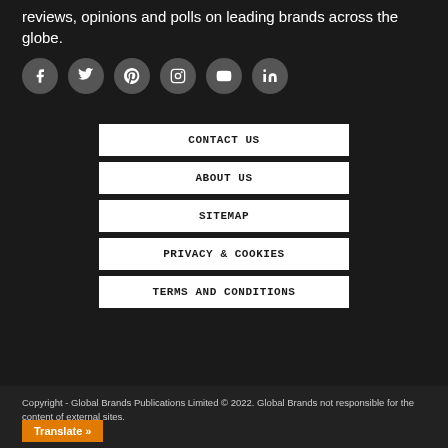reviews, opinions and polls on leading brands across the globe.
[Figure (infographic): Six social media icon buttons in dark circles: Facebook, Twitter, Pinterest, Instagram, YouTube, LinkedIn]
CONTACT US
ABOUT US
SITEMAP
PRIVACY & COOKIES
TERMS AND CONDITIONS
Copyright - Global Brands Publications Limited © 2022. Global Brands not responsible for the content of external sites.
Translate »